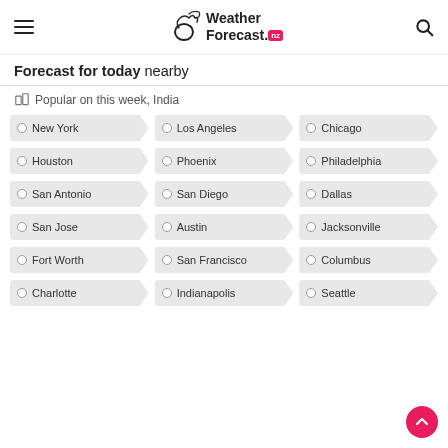Weather Forecast .nz
Forecast for today nearby
Popular on this week, India
New York
Los Angeles
Chicago
Houston
Phoenix
Philadelphia
San Antonio
San Diego
Dallas
San Jose
Austin
Jacksonville
Fort Worth
San Francisco
Columbus
Charlotte
Indianapolis
Seattle